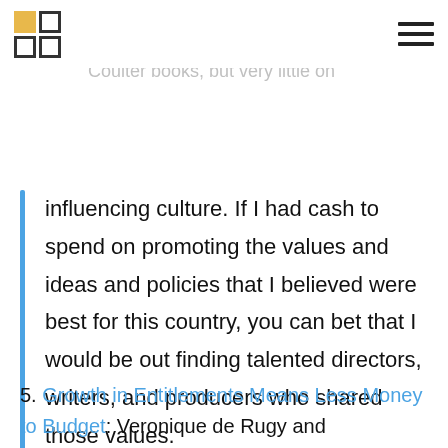[logo and navigation header]
lot of time and money on rallies and events and conferences and Ann Coulter books, but very little on
influencing culture. If I had cash to spend on promoting the values and ideas and policies that I believed were best for this country, you can bet that I would be out finding talented directors, writers, and producers who shared those values.
5. Growth in Entitlements Means Less Money to Budget: Veronique de Rugy and